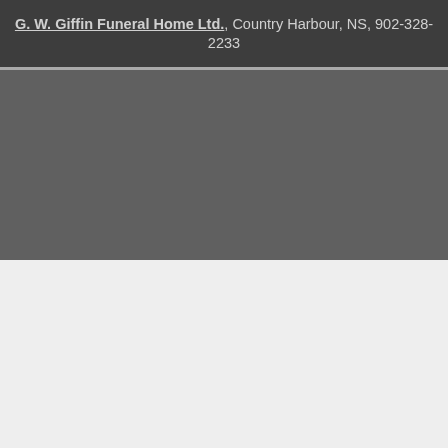G. W. Giffin Funeral Home Ltd., Country Harbour, NS, 902-328-2233